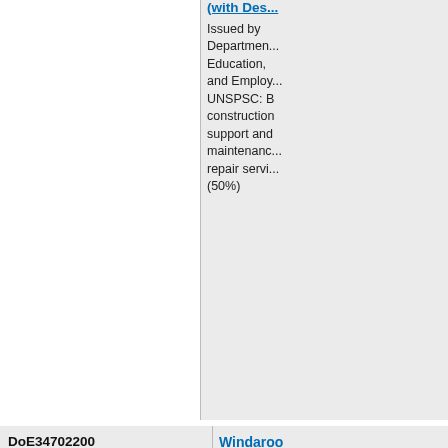| ID / Status / Type | Title / Description |
| --- | --- |
|  | (with Des...
Issued by Department Education, and Employ... UNSPSC: B construction support and maintenance repair servi... (50%) |
| DoE34702200
Current
Tender | Windaroo State High School - N Building W (Design a Construc...
Issued by Department Education, and Employ... UNSPSC: B construction support and maintenance repair servi... (50%) |
| QED36722
Current | Cavendish State Hig... |